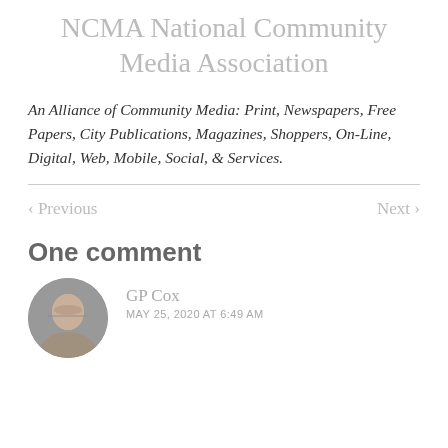NCMA National Community Media Association
An Alliance of Community Media: Print, Newspapers, Free Papers, City Publications, Magazines, Shoppers, On-Line, Digital, Web, Mobile, Social, & Services.
< Previous    Next >
One comment
[Figure (photo): Round avatar photo of a person, GP Cox]
GP Cox
MAY 25, 2020 AT 6:49 AM